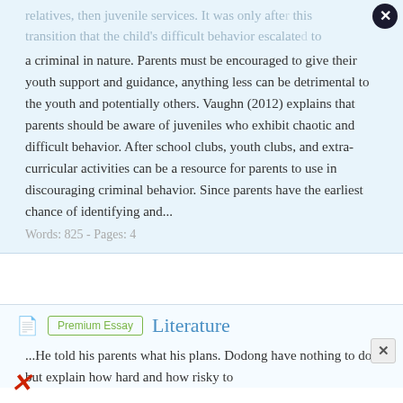relatives, then juvenile services. It was only after this transition that the child's difficult behavior escalated to a criminal in nature. Parents must be encouraged to give their youth support and guidance, anything less can be detrimental to the youth and potentially others. Vaughn (2012) explains that parents should be aware of juveniles who exhibit chaotic and difficult behavior. After school clubs, youth clubs, and extra-curricular activities can be a resource for parents to use in discouraging criminal behavior. Since parents have the earliest chance of identifying and...
Words: 825 - Pages: 4
Literature
...He told his parents what his plans. Dodong have nothing to do but explain how hard and how risky to